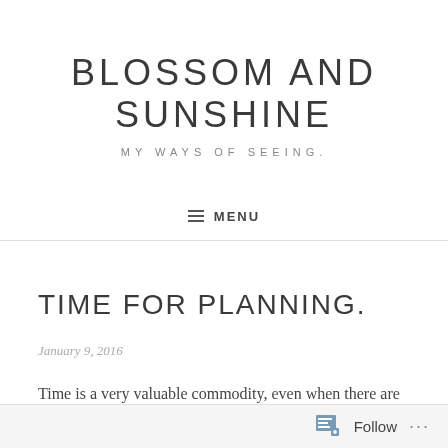BLOSSOM AND SUNSHINE
MY WAYS OF SEEING.
≡ MENU
TIME FOR PLANNING.
January 9, 2016
Time is a very valuable commodity, even when there are
Follow